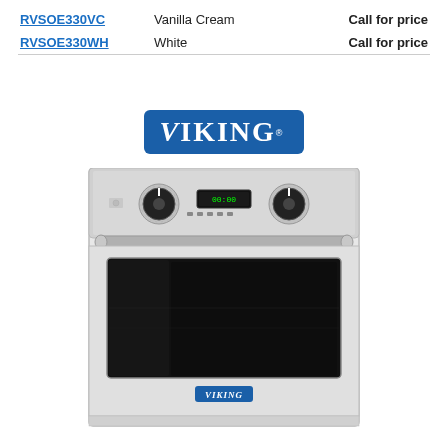| Model | Color | Price |
| --- | --- | --- |
| RVSOE330VC | Vanilla Cream | Call for price |
| RVSOE330WH | White | Call for price |
[Figure (logo): Viking brand logo — white italic serif text on blue rounded rectangle background]
[Figure (photo): Viking stainless steel single wall oven with two control knobs, digital display, horizontal handle bar, and large dark glass window on door. Viking logo badge on lower door panel.]